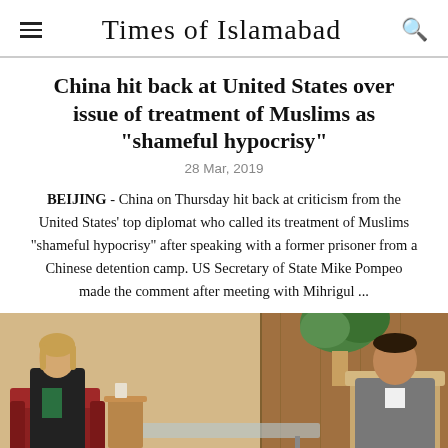Times of Islamabad
China hit back at United States over issue of treatment of Muslims as "shameful hypocrisy"
28 Mar, 2019
BEIJING - China on Thursday hit back at criticism from the United States' top diplomat who called its treatment of Muslims "shameful hypocrisy" after speaking with a former prisoner from a Chinese detention camp. US Secretary of State Mike Pompeo made the comment after meeting with Mihrigul ...
[Figure (photo): Two people seated in an office or formal meeting room setting, one woman in a black jacket and one man in a gray blazer, facing each other across a coffee table. Pakistani flag visible in the background.]